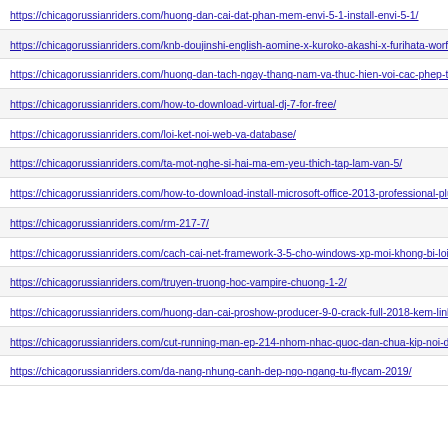https://chicagorussianriders.com/huong-dan-cai-dat-phan-mem-envi-5-1-install-envi-5-1/
https://chicagorussianriders.com/knb-doujinshi-english-aomine-x-kuroko-akashi-x-furihata-worf-x
https://chicagorussianriders.com/huong-dan-tach-ngay-thang-nam-va-thuc-hien-voi-cac-phep-tinh-
https://chicagorussianriders.com/how-to-download-virtual-dj-7-for-free/
https://chicagorussianriders.com/loi-ket-noi-web-va-database/
https://chicagorussianriders.com/ta-mot-nghe-si-hai-ma-em-yeu-thich-tap-lam-van-5/
https://chicagorussianriders.com/how-to-download-install-microsoft-office-2013-professional-plus
https://chicagorussianriders.com/rm-217-7/
https://chicagorussianriders.com/cach-cai-net-framework-3-5-cho-windows-xp-moi-khong-bi-loi-i
https://chicagorussianriders.com/truyen-truong-hoc-vampire-chuong-1-2/
https://chicagorussianriders.com/huong-dan-cai-proshow-producer-9-0-crack-full-2018-kem-link-t
https://chicagorussianriders.com/cut-running-man-ep-214-nhom-nhac-quoc-dan-chua-kip-noi-day-
https://chicagorussianriders.com/da-nang-nhung-canh-dep-ngo-ngang-tu-flycam-2019/